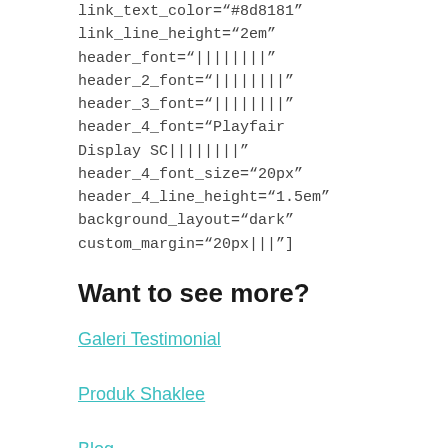link_text_color="#8d8181" link_line_height="2em" header_font="||||||||" header_2_font="||||||||" header_3_font="||||||||" header_4_font="Playfair Display SC||||||||" header_4_font_size="20px" header_4_line_height="1.5em" background_layout="dark" custom_margin="20px|||"]
Want to see more?
Galeri Testimonial
Produk Shaklee
Blog
[/et_pb_text][et_pb_text global_parent="31680"